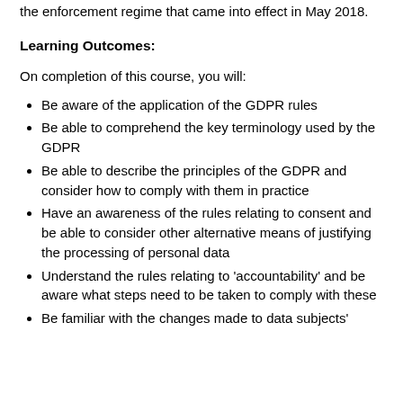the enforcement regime that came into effect in May 2018.
Learning Outcomes:
On completion of this course, you will:
Be aware of the application of the GDPR rules
Be able to comprehend the key terminology used by the GDPR
Be able to describe the principles of the GDPR and consider how to comply with them in practice
Have an awareness of the rules relating to consent and be able to consider other alternative means of justifying the processing of personal data
Understand the rules relating to 'accountability' and be aware what steps need to be taken to comply with these
Be familiar with the changes made to data subjects'